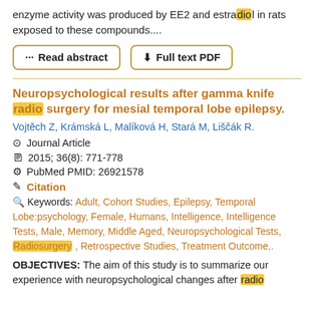enzyme activity was produced by EE2 and estradiol in rats exposed to these compounds....
Read abstract
Full text PDF
Neuropsychological results after gamma knife radio surgery for mesial temporal lobe epilepsy.
Vojtěch Z, Krámská L, Malíková H, Stará M, Liščák R.
Journal Article
2015; 36(8): 771-778
PubMed PMID: 26921578
Citation
Keywords: Adult, Cohort Studies, Epilepsy, Temporal Lobe:psychology, Female, Humans, Intelligence, Intelligence Tests, Male, Memory, Middle Aged, Neuropsychological Tests, Radiosurgery, Retrospective Studies, Treatment Outcome,.
OBJECTIVES: The aim of this study is to summarize our experience with neuropsychological changes after radio